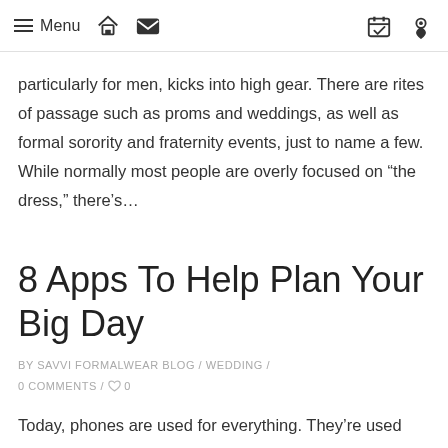Menu
particularly for men, kicks into high gear. There are rites of passage such as proms and weddings, as well as formal sorority and fraternity events, just to name a few. While normally most people are overly focused on “the dress,” there’s…
8 Apps To Help Plan Your Big Day
BY SAVVI FORMALWEAR BLOG / WEDDING / 0 COMMENTS / ♥ 0
Today, phones are used for everything. They’re used